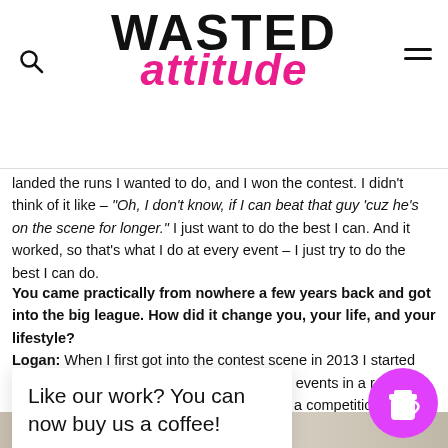WASTED ATTITUDE
landed the runs I wanted to do, and I won the contest. I didn't think of it like – "Oh, I don't know, if I can beat that guy 'cuz he's on the scene for longer." I just want to do the best I can. And it worked, so that's what I do at every event – I just try to do the best I can do.
You came practically from nowhere a few years back and got into the big league. How did it change you, your life, and your lifestyle? Logan: When I first got into the contest scene in 2013 I started competing quite a bit. And I won quite a few events in a row, so I guess, other riders started looking at me as a competition because of it. And                                                   guess. I've put in the                                                        I just solely focused o
Like our work? You can now buy us a coffee!